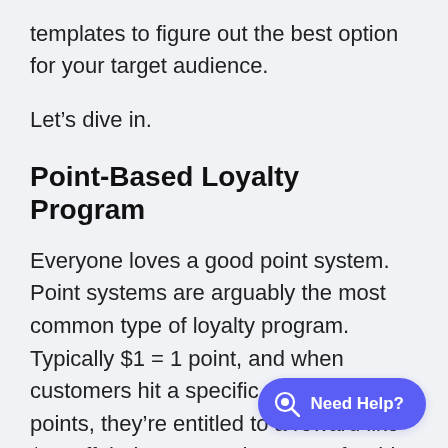templates to figure out the best option for your target audience.
Let’s dive in.
Point-Based Loyalty Program
Everyone loves a good point system. Point systems are arguably the most common type of loyalty program. Typically $1 = 1 point, and when customers hit a specific number of points, they’re entitled to a reward like $10 off their next purchase or a freebie.